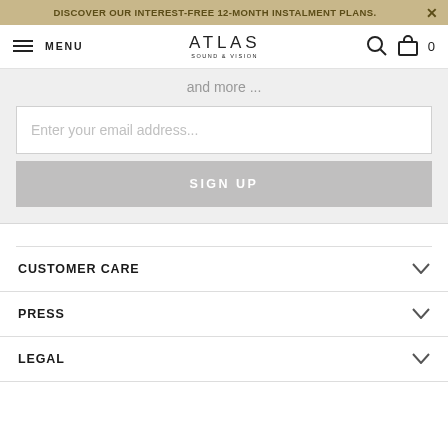DISCOVER OUR INTEREST-FREE 12-MONTH INSTALMENT PLANS.
ATLAS SOUND & VISION — MENU — Search — Cart 0
and more ...
Enter your email address...
SIGN UP
CUSTOMER CARE
PRESS
LEGAL